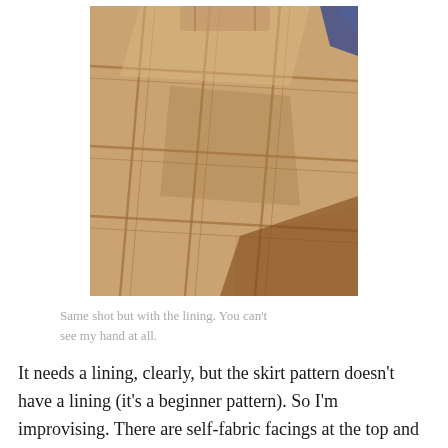[Figure (photo): Close-up photo of a tan/beige plaid fabric skirt lining laid on a wooden surface, with a blue object partially visible in the upper right corner.]
Same shot but with the lining. You can't see my hand at all.
It needs a lining, clearly, but the skirt pattern doesn't have a lining (it's a beginner pattern). So I'm improvising. There are self-fabric facings at the top and bottom of the skirt to